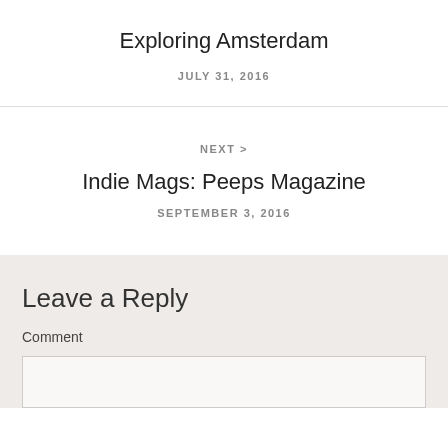Exploring Amsterdam
JULY 31, 2016
NEXT › 
Indie Mags: Peeps Magazine
SEPTEMBER 3, 2016
Leave a Reply
Comment